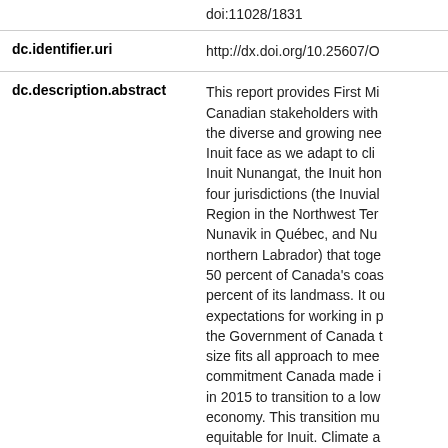| Field | Value |
| --- | --- |
| dc.identifier.uri | http://dx.doi.org/10.25607/O... |
| dc.description.abstract | This report provides First Mi... Canadian stakeholders with the diverse and growing nee... Inuit face as we adapt to cli... Inuit Nunangat, the Inuit hon... four jurisdictions (the Inuvial... Region in the Northwest Ter... Nunavik in Québec, and Nu... northern Labrador) that toge... 50 percent of Canada's coas... percent of its landmass. It ou... expectations for working in p... the Government of Canada t... size fits all approach to mee... commitment Canada made i... in 2015 to transition to a low... economy. This transition mu... equitable for Inuit. Climate a... considered handin- glove wi... |